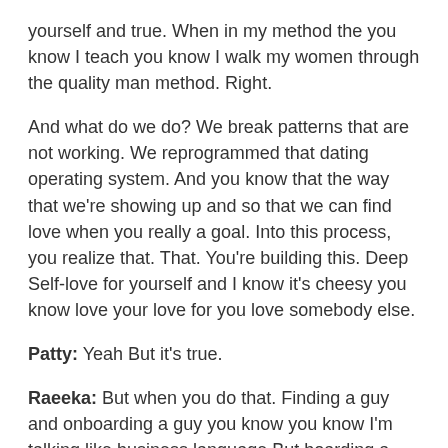yourself and true. When in my method the you know I teach you know I walk my women through the quality man method. Right.
And what do we do? We break patterns that are not working. We reprogrammed that dating operating system. And you know that the way that we're showing up and so that we can find love when you really a goal. Into this process, you realize that. That. You're building this. Deep Self-love for yourself and I know it's cheesy you know love your love for you love somebody else.
Patty: Yeah But it's true.
Raeeka: But when you do that. Finding a guy and onboarding a guy you know you know I'm talking like business language But boarding a guy. into your life is a piece of it. It happens so. Much with ease. I mean I've had single mothers with you know like the whole Brady